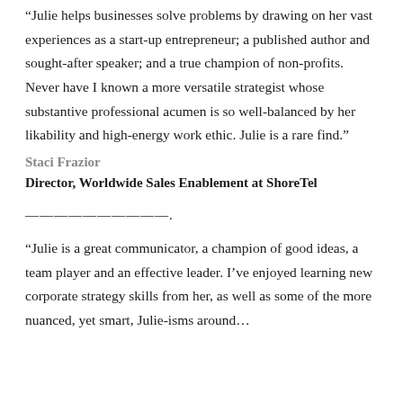“Julie helps businesses solve problems by drawing on her vast experiences as a start-up entrepreneur; a published author and sought-after speaker; and a true champion of non-profits. Never have I known a more versatile strategist whose substantive professional acumen is so well-balanced by her likability and high-energy work ethic. Julie is a rare find.”
Staci Frazior
Director, Worldwide Sales Enablement at ShoreTel
——————————.
“Julie is a great communicator, a champion of good ideas, a team player and an effective leader. I’ve enjoyed learning new corporate strategy skills from her, as well as some of the more nuanced, yet smart, Julie-isms around…